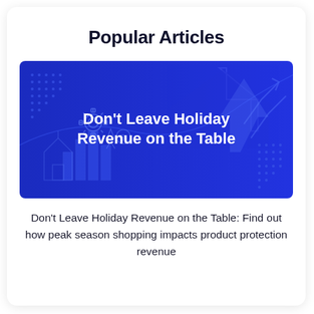Popular Articles
[Figure (illustration): Blue banner image with bold white text 'Don't Leave Holiday Revenue on the Table'. Background features abstract financial/retail icons including arrows, houses, bar charts, sun/gear icon, and dotted patterns on a royal blue gradient.]
Don't Leave Holiday Revenue on the Table: Find out how peak season shopping impacts product protection revenue